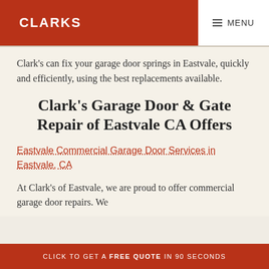CLARKS   ≡ MENU
Clark's can fix your garage door springs in Eastvale, quickly and efficiently, using the best replacements available.
Clark's Garage Door & Gate Repair of Eastvale CA Offers
Eastvale Commercial Garage Door Services in Eastvale, CA
At Clark's of Eastvale, we are proud to offer commercial garage door repairs. We
CLICK TO GET A FREE QUOTE IN 90 SECONDS